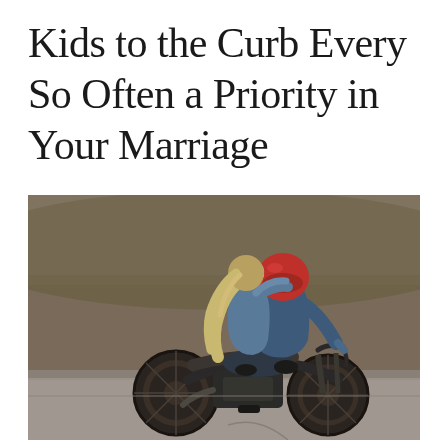Kids to the Curb Every So Often a Priority in Your Marriage
[Figure (photo): A couple on a vintage motorcycle on a paved road. The passenger (woman with long blonde hair) has her arm around the rider who is wearing a red helmet and blue jacket. The background shows grass and a hillside. The scene has a warm, muted, vintage-toned color grading.]